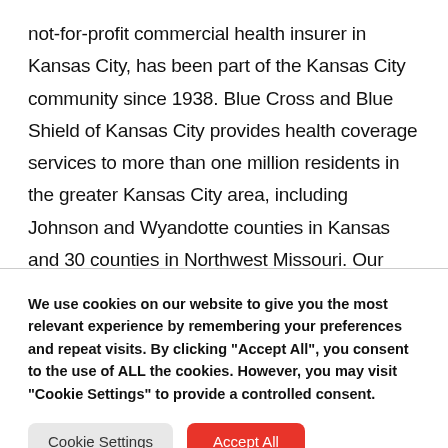not-for-profit commercial health insurer in Kansas City, has been part of the Kansas City community since 1938. Blue Cross and Blue Shield of Kansas City provides health coverage services to more than one million residents in the greater Kansas City area, including Johnson and Wyandotte counties in Kansas and 30 counties in Northwest Missouri. Our mission: to provide
We use cookies on our website to give you the most relevant experience by remembering your preferences and repeat visits. By clicking "Accept All", you consent to the use of ALL the cookies. However, you may visit "Cookie Settings" to provide a controlled consent.